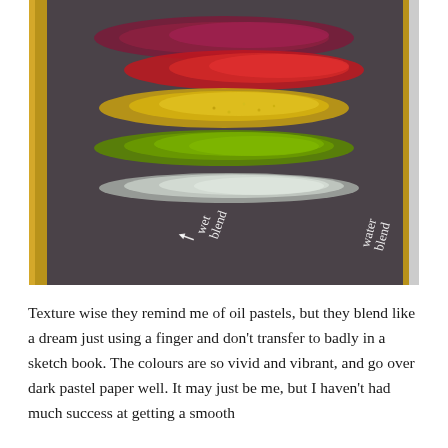[Figure (photo): Photo of a dark grey sketchbook page with horizontal swatches of oil pastels or wax pastels in purple/dark red, bright red, yellow, green, and white/silver. Two handwritten labels in white: 'wet blend' (left, rotated) and 'water blend' (right, rotated). The book appears to have a metallic/gold spine visible on the left and right edges.]
Texture wise they remind me of oil pastels, but they blend like a dream just using a finger and don't transfer to badly in a sketch book. The colours are so vivid and vibrant, and go over dark pastel paper well. It may just be me, but I haven't had much success at getting a smooth